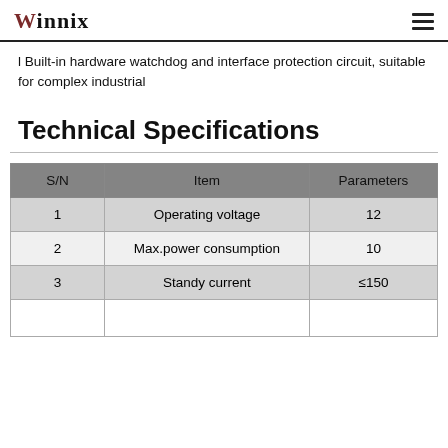Winnix
l Built-in hardware watchdog and interface protection circuit, suitable for complex industrial
Technical Specifications
| S/N | Item | Parameters |
| --- | --- | --- |
| 1 | Operating voltage | 12 |
| 2 | Max.power consumption | 10 |
| 3 | Standy current | ≤150 |
|  |  |  |